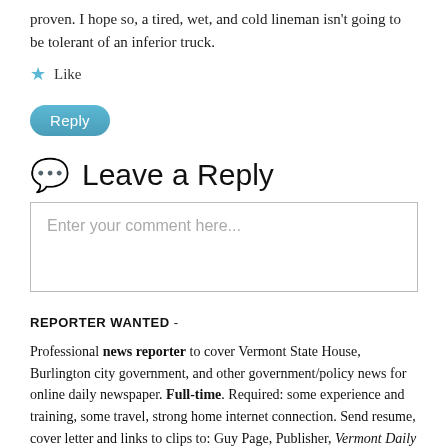proven. I hope so, a tired, wet, and cold lineman isn't going to be tolerant of an inferior truck.
Like
Reply
Leave a Reply
Enter your comment here...
REPORTER WANTED -
Professional news reporter to cover Vermont State House, Burlington city government, and other government/policy news for online daily newspaper. Full-time. Required: some experience and training, some travel, strong home internet connection. Send resume, cover letter and links to clips to: Guy Page, Publisher, Vermont Daily Chronicle, news@vermontdailychronicle.com.com.